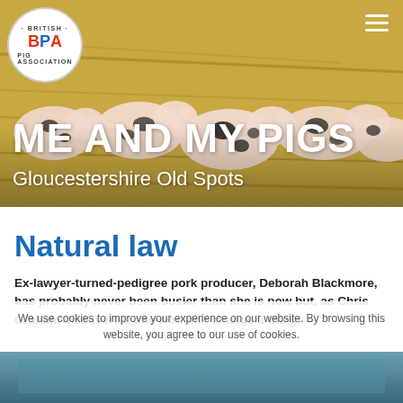[Figure (photo): Hero banner showing Gloucestershire Old Spot piglets lying on straw, with BPA logo in top left and hamburger menu icon in top right. Large white text 'ME AND MY PIGS' and subtitle 'Gloucestershire Old Spots' overlaid on the photo.]
ME AND MY PIGS
Gloucestershire Old Spots
Natural law
Ex-lawyer-turned-pedigree pork producer, Deborah Blackmore, has probably never been busier than she is now but, as Chris Graham discovered, she wouldn't change a thing.
We use cookies to improve your experience on our website. By browsing this website, you agree to our use of cookies.
[Figure (photo): Partial view of a second image at the bottom of the page, appears to be a farm or outdoor scene in blue/teal tones.]